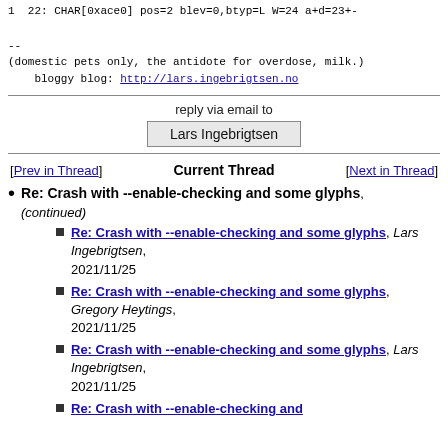1  22: CHAR[0xace0] pos=2 blev=0,btyp=L W=24 a+d=23+-
--
(domestic pets only, the antidote for overdose, milk.)
    bloggy blog: http://lars.ingebrigtsen.no
reply via email to
Lars Ingebrigtsen
[Prev in Thread]  Current Thread  [Next in Thread]
Re: Crash with --enable-checking and some glyphs, (continued)
Re: Crash with --enable-checking and some glyphs, Lars Ingebrigtsen, 2021/11/25
Re: Crash with --enable-checking and some glyphs, Gregory Heytings, 2021/11/25
Re: Crash with --enable-checking and some glyphs, Lars Ingebrigtsen, 2021/11/25
Re: Crash with --enable-checking and some glyphs